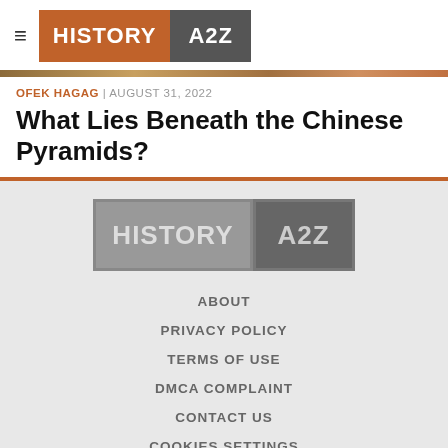[Figure (logo): History A2Z logo in header — orange HISTORY box and dark grey A2Z box]
OFEK HAGAG | AUGUST 31, 2022
What Lies Beneath the Chinese Pyramids?
[Figure (logo): History A2Z logo in footer — grey HISTORY box and dark grey A2Z box]
ABOUT
PRIVACY POLICY
TERMS OF USE
DMCA COMPLAINT
CONTACT US
COOKIES SETTINGS